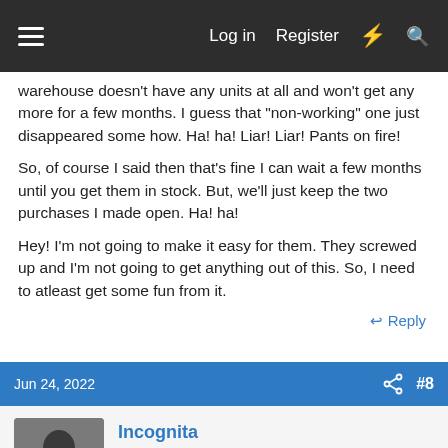Log in  Register
warehouse doesn't have any units at all and won't get any more for a few months. I guess that "non-working" one just disappeared some how. Ha! ha! Liar! Liar! Pants on fire!
So, of course I said then that's fine I can wait a few months until you get them in stock. But, we'll just keep the two purchases I made open. Ha! ha!
Hey! I'm not going to make it easy for them. They screwed up and I'm not going to get anything out of this. So, I need to atleast get some fun from it.
↩ Reply
Jun 24, 2022  #8
Incognita
Well-known member